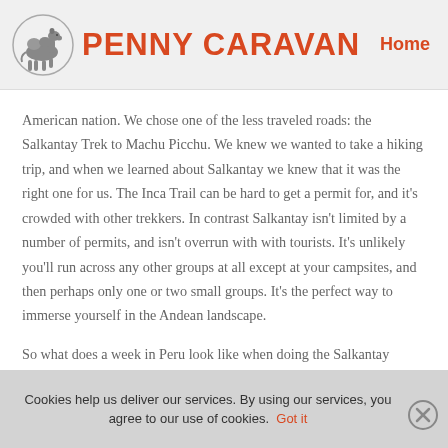[Figure (logo): Penny Caravan logo with camel illustration and orange text]
Home
American nation. We chose one of the less traveled roads: the Salkantay Trek to Machu Picchu. We knew we wanted to take a hiking trip, and when we learned about Salkantay we knew that it was the right one for us. The Inca Trail can be hard to get a permit for, and it's crowded with other trekkers. In contrast Salkantay isn't limited by a number of permits, and isn't overrun with with tourists. It's unlikely you'll run across any other groups at all except at your campsites, and then perhaps only one or two small groups. It's the perfect way to immerse yourself in the Andean landscape.
So what does a week in Peru look like when doing the Salkantay
Cookies help us deliver our services. By using our services, you agree to our use of cookies. Got it